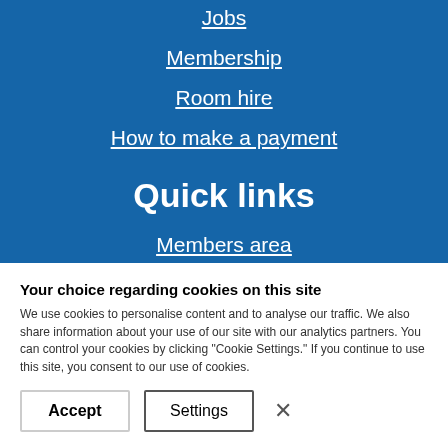Jobs
Membership
Room hire
How to make a payment
Quick links
Members area
Covid-19
PAGB Codes and Guidance
Regulatory resources
Your choice regarding cookies on this site
We use cookies to personalise content and to analyse our traffic. We also share information about your use of our site with our analytics partners. You can control your cookies by clicking "Cookie Settings." If you continue to use this site, you consent to our use of cookies.
Accept
Settings